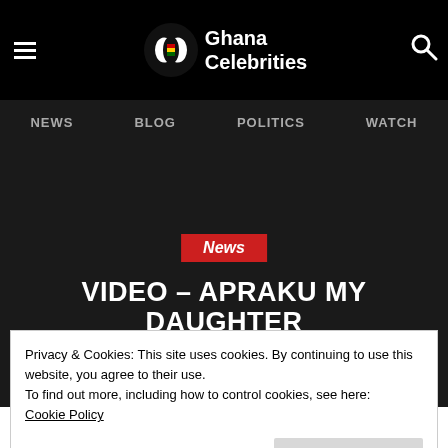Ghana Celebrities — NEWS | BLOG | POLITICS | WATCH
[Figure (screenshot): Dark hero image background area]
News
VIDEO – APRAKU MY DAUGHTER NOW A SERIOUS DRUNKARD WALKING AROUND TOWN
Privacy & Cookies: This site uses cookies. By continuing to use this website, you agree to their use.
To find out more, including how to control cookies, see here: Cookie Policy
Close and Accept